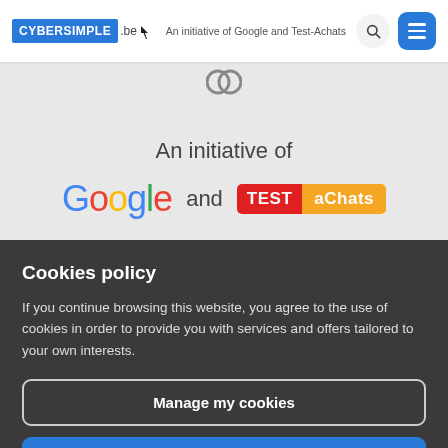CYBERSIMPLE .be — An initiative of Google and Test-Achats
[Figure (logo): Cybersimple.be logo with search and menu buttons in header]
An initiative of
[Figure (logo): Google logo and Test-Achats logo side by side]
Cookies policy
If you continue browsing this website, you agree to the use of cookies in order to provide you with services and offers tailored to your own interests.
Manage my cookies
Accept and close